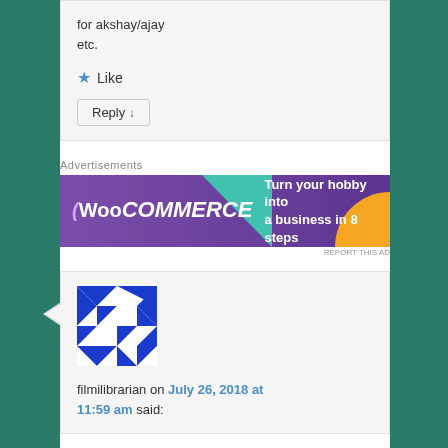for akshay/ajay etc.
★ Like
Reply ↓
Advertisements
[Figure (infographic): WooCommerce advertisement banner: purple background with teal and orange geometric shapes, WooCommerce logo on left, text 'Turn your hobby into a business in 8 steps' on right]
REPORT THIS AD
[Figure (illustration): Blue and white geometric pattern avatar for user filmilibrarian]
filmilibrarian on July 26, 2018 at 11:59 am said: